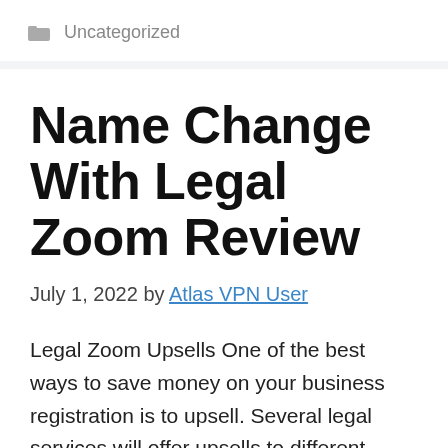Uncategorized
Name Change With Legal Zoom Review
July 1, 2022 by Atlas VPN User
Legal Zoom Upsells One of the best ways to save money on your business registration is to upsell. Several legal services will offer upsells to different packages, such as a Peace of Mind review, a 30-minute tax savings consultation, a digital LLC welcome